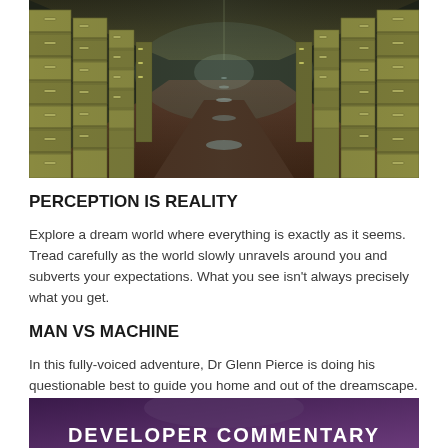[Figure (photo): A long corridor with tall file cabinets/drawers on both sides, receding into a dark vanishing point. Dramatic perspective shot with glowing floor lights.]
PERCEPTION IS REALITY
Explore a dream world where everything is exactly as it seems. Tread carefully as the world slowly unravels around you and subverts your expectations. What you see isn't always precisely what you get.
MAN VS MACHINE
In this fully-voiced adventure, Dr Glenn Pierce is doing his questionable best to guide you home and out of the dreamscape. His artificial intelligence assistant, however, is having trouble understanding exactly how you're here at all, and has other plans for you.
[Figure (photo): Partial view of another image showing purple/dark tones with white bold text at the bottom reading 'DEVELOPER COMMENTARY' (partially cropped).]